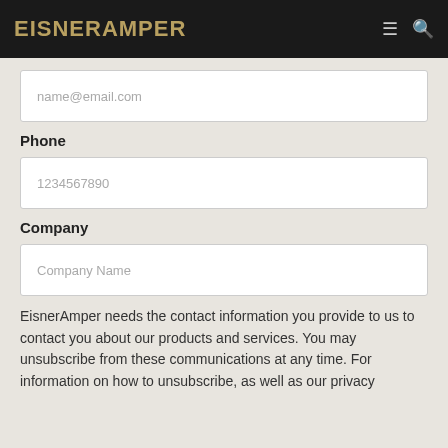EisnerAmper
name@email.com
Phone
1234567890
Company
Company Name
EisnerAmper needs the contact information you provide to us to contact you about our products and services. You may unsubscribe from these communications at any time. For information on how to unsubscribe, as well as our privacy